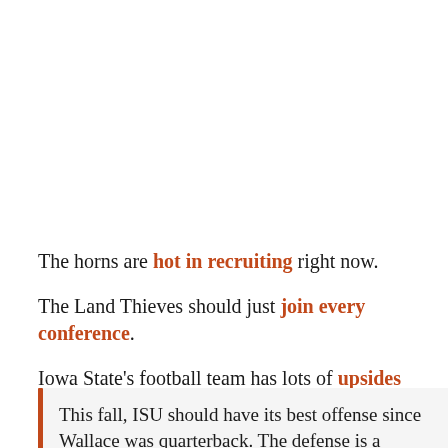The horns are hot in recruiting right now.
The Land Thieves should just join every conference.
Iowa State's football team has lots of upsides this season.
This fall, ISU should have its best offense since Wallace was quarterback. The defense is a massive